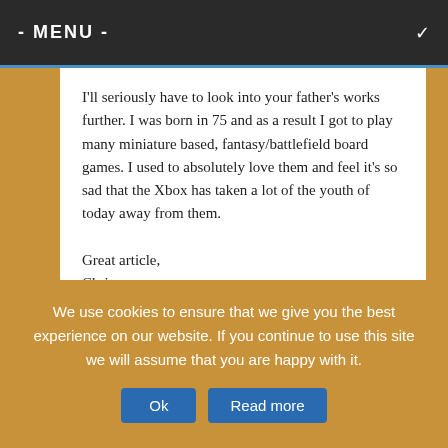- MENU -
I'll seriously have to look into your father's works further. I was born in 75 and as a result I got to play many miniature based, fantasy/battlefield board games. I used to absolutely love them and feel it's so sad that the Xbox has taken a lot of the youth of today away from them.
Great article,
Chris
Reply ↓
Stephanie (Post
We use cookies to ensure that we give you the best experience on our website. If you continue to use this site we will assume that you are happy with it.